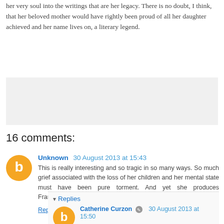her very soul into the writings that are her legacy. There is no doubt, I think, that her beloved mother would have rightly been proud of all her daughter achieved and her name lives on, a literary legend.
[Figure (other): Gray advertisement/banner placeholder box]
16 comments:
Unknown  30 August 2013 at 15:43
This is really interesting and so tragic in so many ways. So much grief associated with the loss of her children and her mental state must have been pure torment. And yet she produces Frankenstein! It's an inspirational account.
Reply
▾ Replies
Catherine Curzon  30 August 2013 at 15:50